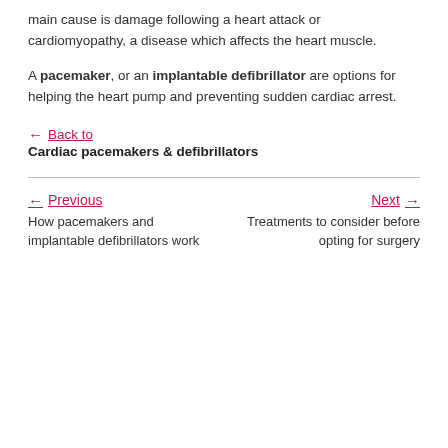main cause is damage following a heart attack or cardiomyopathy, a disease which affects the heart muscle.
A pacemaker, or an implantable defibrillator are options for helping the heart pump and preventing sudden cardiac arrest.
← Back to
Cardiac pacemakers & defibrillators
← Previous
How pacemakers and implantable defibrillators work
Next →
Treatments to consider before opting for surgery